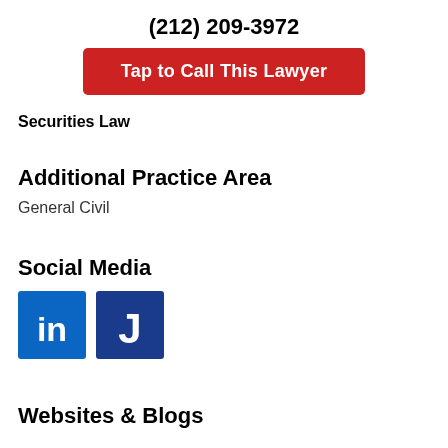(212) 209-3972
[Figure (other): Red button with white bold text 'Tap to Call This Lawyer']
Securities Law
Additional Practice Area
General Civil
Social Media
[Figure (logo): LinkedIn logo icon (blue square with 'in' in white) and Jurispage logo icon (dark blue square with 'J' in white)]
Websites & Blogs